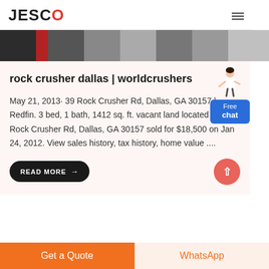JESCO
[Figure (photo): Partial view of industrial machinery or building exterior, cropped header image strip]
rock crusher dallas | worldcrushers
May 21, 2013· 39 Rock Crusher Rd, Dallas, GA 30157 | Redfin. 3 bed, 1 bath, 1412 sq. ft. vacant land located at 39 Rock Crusher Rd, Dallas, GA 30157 sold for $18,500 on Jan 24, 2012. View sales history, tax history, home value ....
READ MORE →